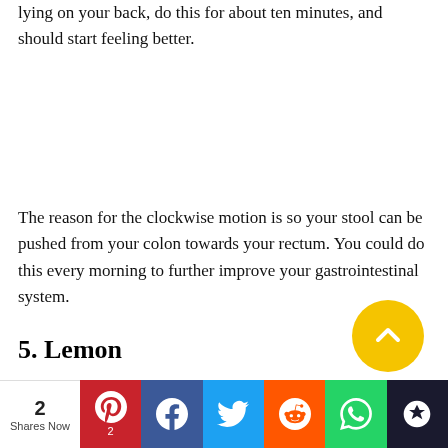lying on your back, do this for about ten minutes, and should start feeling better.
The reason for the clockwise motion is so your stool can be pushed from your colon towards your rectum. You could do this every morning to further improve your gastrointestinal system.
5. Lemon
Consuming lemon juice is one of the easiest and most
[Figure (other): Yellow circular scroll-to-top button with upward chevron arrow]
2 Shares Now | Pinterest 2 | Facebook | Twitter | Reddit | WhatsApp | Crown/Mix